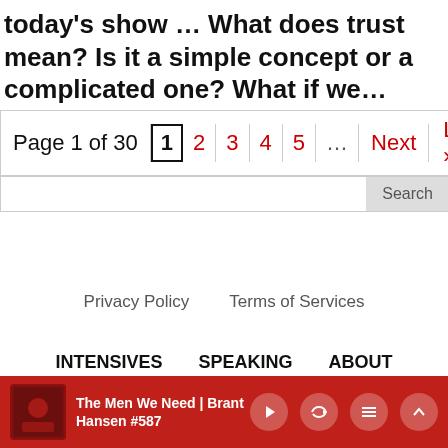today's show … What does trust mean? Is it a simple concept or a complicated one? What if we…
[Figure (screenshot): Pagination bar showing Page 1 of 30 with page numbers 1 (current), 2, 3, 4, 5, ..., Next, Last »]
[Figure (screenshot): Search input bar with Search button]
Privacy Policy    Terms of Services
INTENSIVES    SPEAKING    ABOUT
CONTACT
[Figure (screenshot): Audio player bar at bottom: The Men We Need | Brant Hansen #587, with play, volume, playlist, and collapse controls]